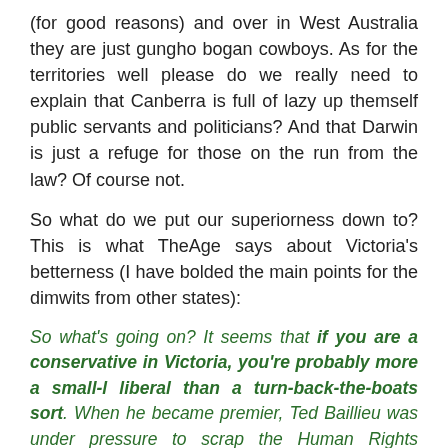(for good reasons) and over in West Australia they are just gungho bogan cowboys. As for the territories well please do we really need to explain that Canberra is full of lazy up themself public servants and politicians? And that Darwin is just a refuge for those on the run from the law? Of course not.
So what do we put our superiorness down to? This is what TheAge says about Victoria's betterness (I have bolded the main points for the dimwits from other states):
So what's going on? It seems that if you are a conservative in Victoria, you're probably more a small-l liberal than a turn-back-the-boats sort. When he became premier, Ted Baillieu was under pressure to scrap the Human Rights Charter – loathed by the far right as the epitome of legislative evil – but he decided to keep it.